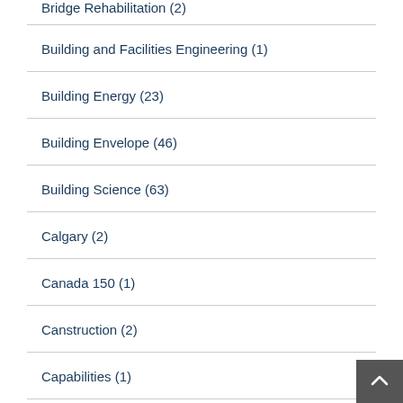Bridge Rehabilitation (2)
Building and Facilities Engineering (1)
Building Energy (23)
Building Envelope (46)
Building Science (63)
Calgary (2)
Canada 150 (1)
Canstruction (2)
Capabilities (1)
Carbon emissions (1)